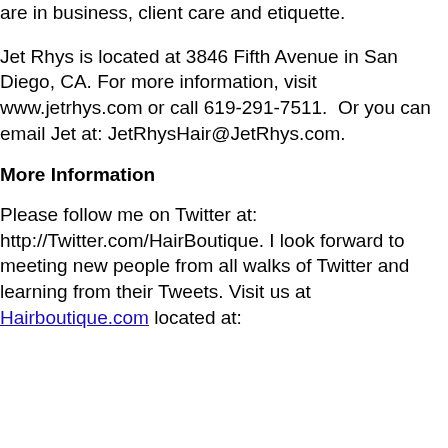are in business, client care and etiquette.
Jet Rhys is located at 3846 Fifth Avenue in San Diego, CA. For more information, visit www.jetrhys.com or call 619-291-7511.  Or you can email Jet at: JetRhysHair@JetRhys.com.
More Information
Please follow me on Twitter at: http://Twitter.com/HairBoutique. I look forward to meeting new people from all walks of Twitter and learning from their Tweets. Visit us at Hairboutique.com located at: http://www.HairBoutique...